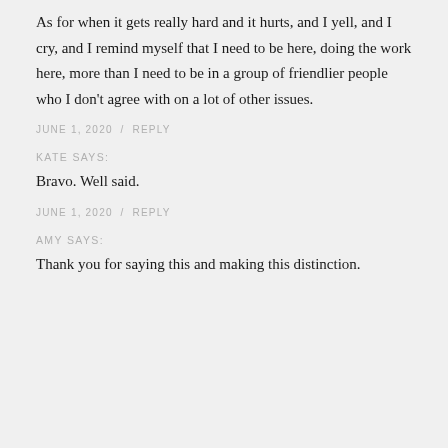As for when it gets really hard and it hurts, and I yell, and I cry, and I remind myself that I need to be here, doing the work here, more than I need to be in a group of friendlier people who I don't agree with on a lot of other issues.
JUNE 1, 2020 / REPLY
KATE SAYS:
Bravo. Well said.
JUNE 1, 2020 / REPLY
AMY SAYS:
Thank you for saying this and making this distinction.